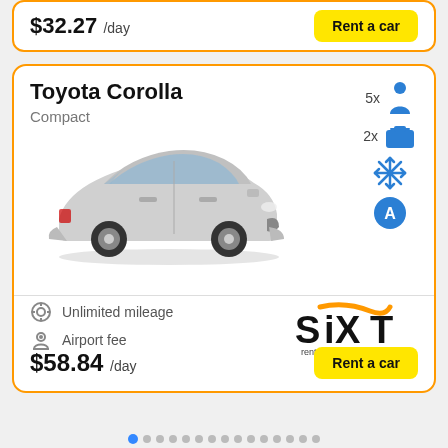$32.27 /day
Rent a car
Toyota Corolla
Compact
[Figure (photo): Toyota Corolla silver compact sedan car image]
5x passengers, 2x bags, air conditioning, automatic transmission
Unlimited mileage
Airport fee
[Figure (logo): Sixt rent a car logo]
$58.84 /day
Rent a car